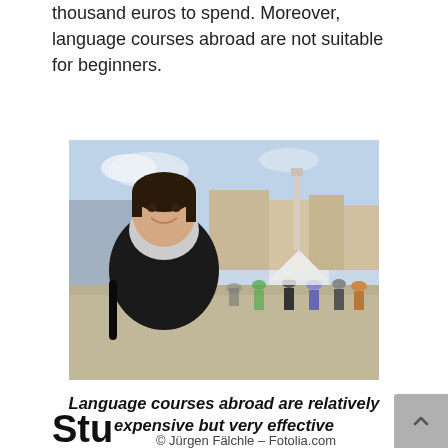thousand euros to spend. Moreover, language courses abroad are not suitable for beginners.
[Figure (photo): Young woman smiling in foreground with a busy European city square in the background, crowds of people, historic buildings visible]
Language courses abroad are relatively expensive but very effective
© Jürgen Fälchle – Fotolia.com
Stu...